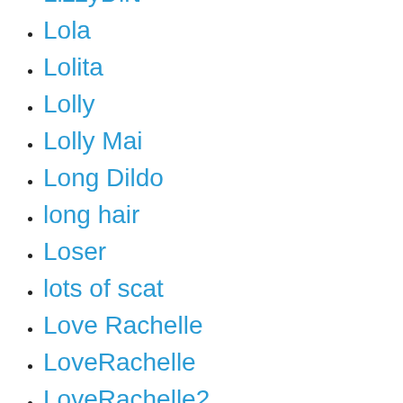LizzyDirt
Lola
Lolita
Lolly
Lolly Mai
Long Dildo
long hair
Loser
lots of scat
Love Rachelle
LoveRachelle
LoveRachelle2
lscat porn
Luci
Lucy Belle
Lucy Puddles